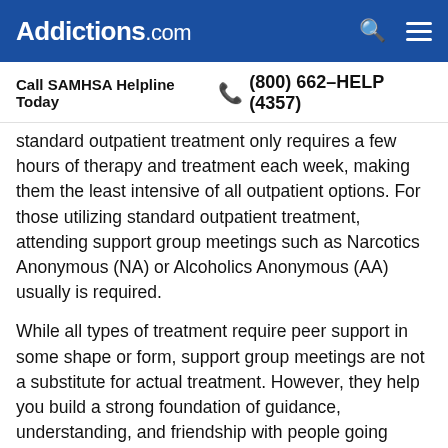Addictions.com
Call SAMHSA Helpline Today  (800) 662-HELP (4357)
standard outpatient treatment only requires a few hours of therapy and treatment each week, making them the least intensive of all outpatient options. For those utilizing standard outpatient treatment, attending support group meetings such as Narcotics Anonymous (NA) or Alcoholics Anonymous (AA) usually is required.
While all types of treatment require peer support in some shape or form, support group meetings are not a substitute for actual treatment. However, they help you build a strong foundation of guidance, understanding, and friendship with people going through similar experiences.